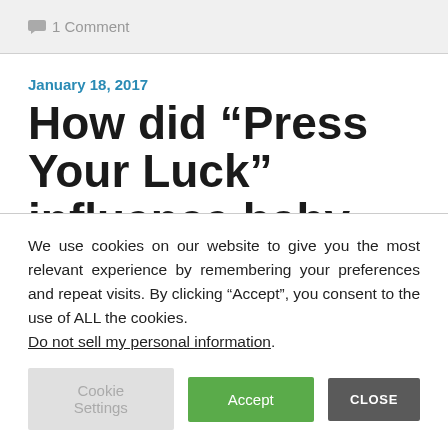💬 1 Comment
January 18, 2017
How did “Press Your Luck” influence baby
We use cookies on our website to give you the most relevant experience by remembering your preferences and repeat visits. By clicking “Accept”, you consent to the use of ALL the cookies.
Do not sell my personal information.